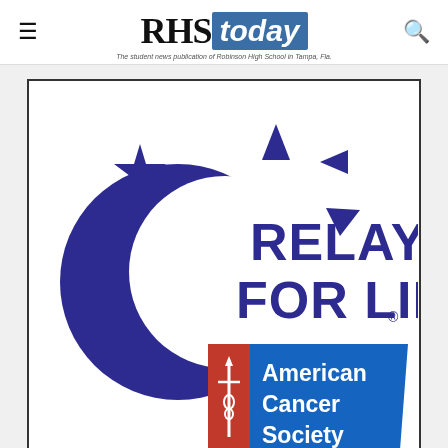RHS today — The student news publication of Robinson High School in Tampa, Fla.
[Figure (logo): Relay for Life / American Cancer Society logo: dark navy blue crescent moon on the left with stars and triangular shapes, text RELAY FOR LIFE in large bold dark blue letters on the right, below it the American Cancer Society banner in red and blue with sword icon and text American Cancer Society in white.]